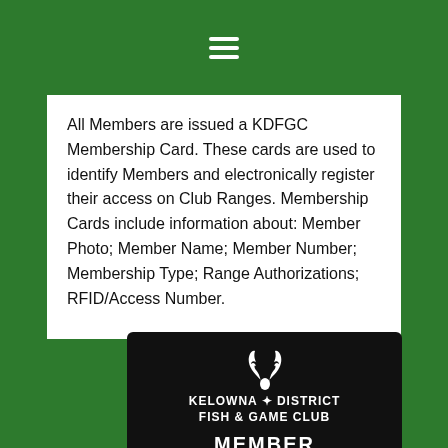☰ (hamburger menu icon)
All Members are issued a KDFGC Membership Card. These cards are used to identify Members and electronically register their access on Club Ranges. Membership Cards include information about: Member Photo; Member Name; Member Number; Membership Type; Range Authorizations; RFID/Access Number.
[Figure (photo): KDFGC Membership Card showing a black card with antler logo, text 'Kelowna District Fish & Game Club', 'MEMBER' label, and a photo placeholder area showing a silhouette.]